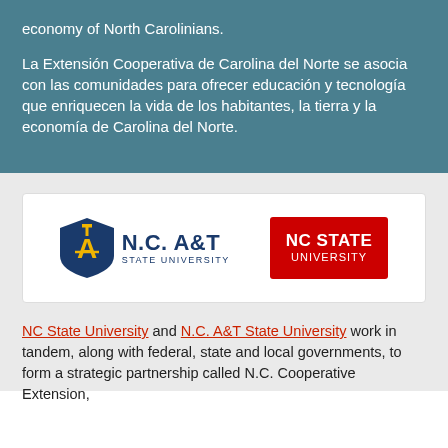economy of North Carolinians.
La Extensión Cooperativa de Carolina del Norte se asocia con las comunidades para ofrecer educación y tecnología que enriquecen la vida de los habitantes, la tierra y la economía de Carolina del Norte.
[Figure (logo): N.C. A&T State University logo and NC State University logo side by side on white background]
NC State University and N.C. A&T State University work in tandem, along with federal, state and local governments, to form a strategic partnership called N.C. Cooperative Extension,